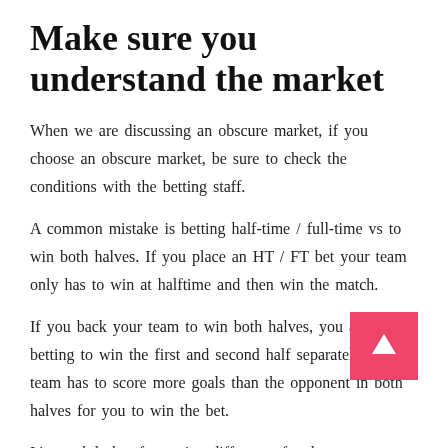Make sure you understand the market
When we are discussing an obscure market, if you choose an obscure market, be sure to check the conditions with the betting staff.
A common mistake is betting half-time / full-time vs to win both halves. If you place an HT / FT bet your team only has to win at halftime and then win the match.
If you back your team to win both halves, you are betting to win the first and second half separately. The team has to score more goals than the opponent in both halves for you to win the bet.
It's a subtle but frustrating difference for the punters